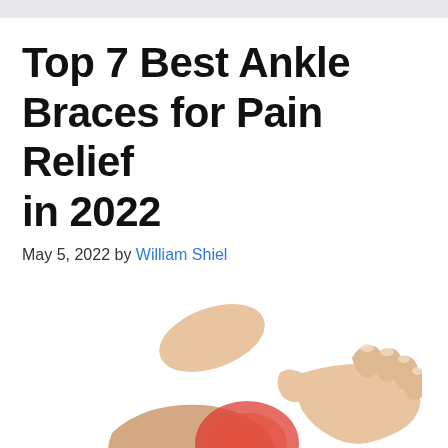Top 7 Best Ankle Braces for Pain Relief in 2022
May 5, 2022 by William Shiel
[Figure (photo): A person holding their ankle with both hands, the ankle area highlighted in red indicating pain or inflammation, on a white background.]